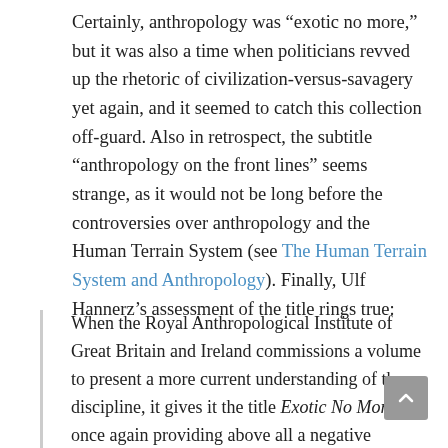Certainly, anthropology was “exotic no more,” but it was also a time when politicians revved up the rhetoric of civilization-versus-savagery yet again, and it seemed to catch this collection off-guard. Also in retrospect, the subtitle “anthropology on the front lines” seems strange, as it would not be long before the controversies over anthropology and the Human Terrain System (see The Human Terrain System and Anthropology). Finally, Ulf Hannerz’s assessment of the title rings true:
When the Royal Anthropological Institute of Great Britain and Ireland commissions a volume to present a more current understanding of the discipline, it gives it the title Exotic No More–once again providing above all a negative statement, which might at worst be taken to mean that anthropology has given up its attempt to understand human lives